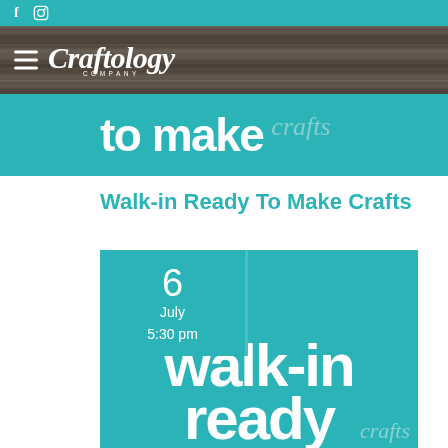f  instagram icon - social media links
[Figure (logo): Craftology Company logo with hamburger menu on dark wood-textured background]
[Figure (illustration): Teal banner strip with large white bold text 'to make' and cursive 'crafts' watermark]
Walk-in Ready To Make Crafts
[Figure (infographic): Date block showing '6 July 5:30 pm' over teal background, next to large teal event poster showing 'walk-in ready to make' in large white bold text with cursive crafts watermark]